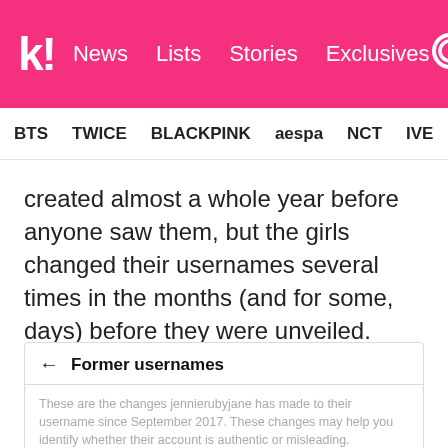k! News Lists Stories Exclusives
BTS TWICE BLACKPINK aespa NCT IVE SHINE
created almost a whole year before anyone saw them, but the girls changed their usernames several times in the months (and for some, days) before they were unveiled.
[Figure (screenshot): Instagram 'Former usernames' dialog box showing: 'These are the changes jennierubyjane has made to their username since September 2017. These changes may help you identify whether their account is authentic or misleading.' Entry: jennierubyjanekim — April 14, 2018]